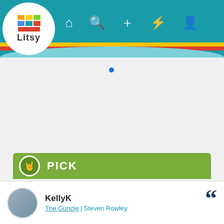[Figure (screenshot): Litsy app logo with stacked colorful books above the text Litsy in a white circle]
[Figure (infographic): Litsy app navigation bar with home, search, plus, lightning, and user icons on teal background with yellow and red stripes]
PICK
My first 📚📚📚📚📚 of 2022! The first two-thirds of this sweet novel of loss and grief had me LOL with all the antics GUP tried to get his niece and nephew to open up about the loss of their mom… the last third had me 😢😢 as GUP dealt with his own grief. I finished this yesterday in the early afternoon and tried to start my next read in the evening… it was too soon as I kept thinking about Patrick and his family.
32 likes    1 stack add
KellyK
The Guncle | Steven Rowley